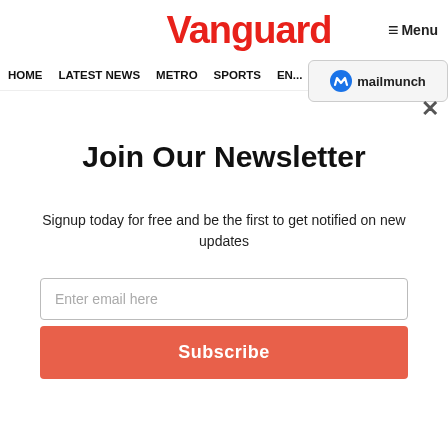Vanguard
≡ Menu
HOME  LATEST NEWS  METRO  SPORTS  EN... VIDE...
[Figure (logo): Mailmunch badge with blue M logo and text 'mailmunch']
✕
Join Our Newsletter
Signup today for free and be the first to get notified on new updates
Enter email here
Subscribe